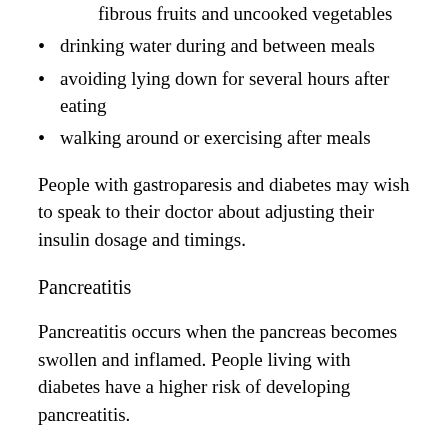fibrous fruits and uncooked vegetables
drinking water during and between meals
avoiding lying down for several hours after eating
walking around or exercising after meals
People with gastroparesis and diabetes may wish to speak to their doctor about adjusting their insulin dosage and timings.
Pancreatitis
Pancreatitis occurs when the pancreas becomes swollen and inflamed. People living with diabetes have a higher risk of developing pancreatitis.
In addition to nausea, pancreatitis can cause:
pain in the abdomen